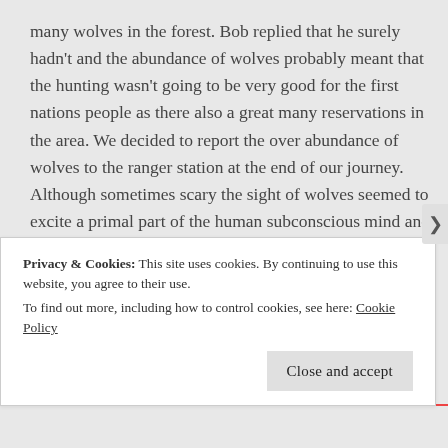many wolves in the forest. Bob replied that he surely hadn't and the abundance of wolves probably meant that the hunting wasn't going to be very good for the first nations people as there also a great many reservations in the area. We decided to report the over abundance of wolves to the ranger station at the end of our journey. Although sometimes scary the sight of wolves seemed to excite a primal part of the human subconscious mind and was very thrilling.
Much to my relief the wolves seemed uninterested in us as they had plenty of deer and moose to hunt. We
Privacy & Cookies: This site uses cookies. By continuing to use this website, you agree to their use.
To find out more, including how to control cookies, see here: Cookie Policy
Close and accept